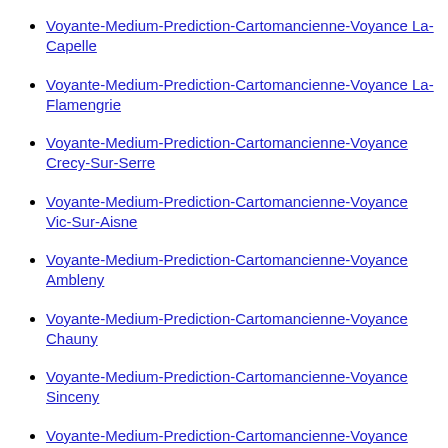Voyante-Medium-Prediction-Cartomancienne-Voyance La-Capelle
Voyante-Medium-Prediction-Cartomancienne-Voyance La-Flamengrie
Voyante-Medium-Prediction-Cartomancienne-Voyance Crecy-Sur-Serre
Voyante-Medium-Prediction-Cartomancienne-Voyance Vic-Sur-Aisne
Voyante-Medium-Prediction-Cartomancienne-Voyance Ambleny
Voyante-Medium-Prediction-Cartomancienne-Voyance Chauny
Voyante-Medium-Prediction-Cartomancienne-Voyance Sinceny
Voyante-Medium-Prediction-Cartomancienne-Voyance Viry-Noureuil
Voyante-Medium-Prediction-Cartomancienne-Voyance …